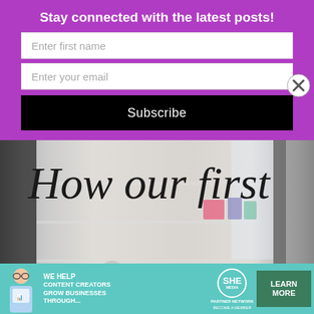Stay connected with the latest posts!
Enter first name
Enter your email
Subscribe
[Figure (photo): Background photo of an organized closet/laundry room with shelves and hanging items, with cursive script text overlay reading 'How our first Rental House']
[Figure (infographic): SHE Media Partner Network advertisement banner with teal background, text 'We help content creators grow businesses through...', SHE Partner Network logo, and 'Learn More / Become a Member' button]